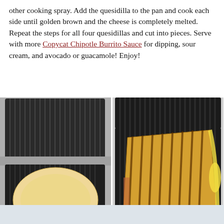other cooking spray. Add the quesidilla to the pan and cook each side until golden brown and the cheese is completely melted. Repeat the steps for all four quesidillas and cut into pieces. Serve with more Copycat Chipotle Burrito Sauce for dipping, sour cream, and avocado or guacamole! Enjoy!
[Figure (photo): Left photo: hands placing an uncooked filled tortilla/quesadilla into an open panini/sandwich press with ridged grill plates, viewed from above.]
[Figure (photo): Right photo: a grilled quesadilla with golden-brown grill marks showing melted cheese and filling inside, sitting in an open panini/sandwich press.]
[Figure (photo): Bottom partial image: beginning of another food photograph, light blue/grey background visible at page bottom.]